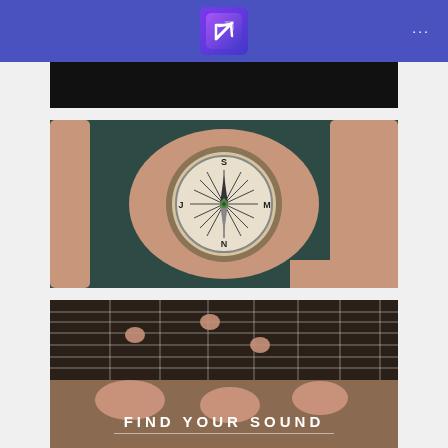[Figure (photo): Dark/black image at top, partial view]
[Figure (photo): Close-up photo of a hand holding a compass with a compass rose visible, dark teal background]
[Figure (photo): Close-up photo of hands playing an electric guitar fretboard with text overlay 'FIND YOUR SOUND']